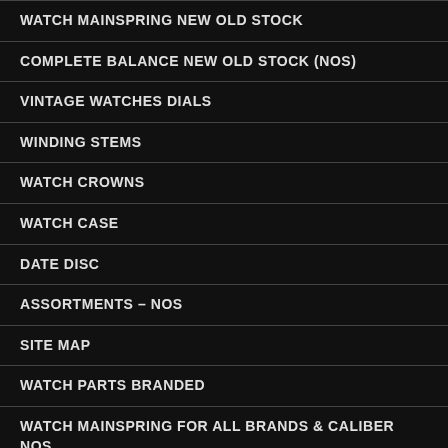WATCH MAINSPRING NEW OLD STOCK
COMPLETE BALANCE NEW OLD STOCK (NOS)
VINTAGE WATCHES DIALS
WINDING STEMS
WATCH CROWNS
WATCH CASE
DATE DISC
ASSORTMENTS – NOS
SITE MAP
WATCH PARTS BRANDED
WATCH MAINSPRING FOR ALL BRANDS & CALIBER NOS
AS CALIBRE MOVEMENT AND SPARE PARTS